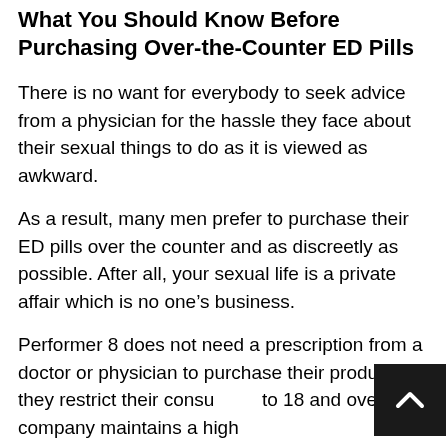What You Should Know Before Purchasing Over-the-Counter ED Pills
There is no want for everybody to seek advice from a physician for the hassle they face about their sexual things to do as it is viewed as awkward.
As a result, many men prefer to purchase their ED pills over the counter and as discreetly as possible. After all, your sexual life is a private affair which is no one’s business.
Performer 8 does not need a prescription from a doctor or physician to purchase their product, but they restrict their consumers to 18 and over. The company maintains a high